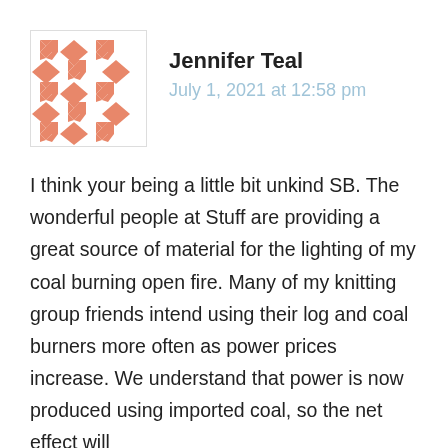[Figure (illustration): Geometric avatar image with a salmon/coral colored diamond and cross pattern on white background, inside a light gray bordered square]
Jennifer Teal
July 1, 2021 at 12:58 pm
I think your being a little bit unkind SB. The wonderful people at Stuff are providing a great source of material for the lighting of my coal burning open fire. Many of my knitting group friends intend using their log and coal burners more often as power prices increase. We understand that power is now produced using imported coal, so the net effect will